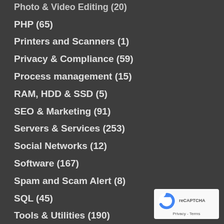Photo & Video Editing (20)
PHP (65)
Printers and Scanners (1)
Privacy & Compliance (59)
Process management (15)
RAM, HDD & SSD (5)
SEO & Marketing (91)
Servers & Services (253)
Social Networks (12)
Software (167)
Spam and Scam Alert (8)
SQL (45)
Tools & Utilities (190)
[Figure (logo): reCAPTCHA badge with Google logo and Privacy - Terms text]